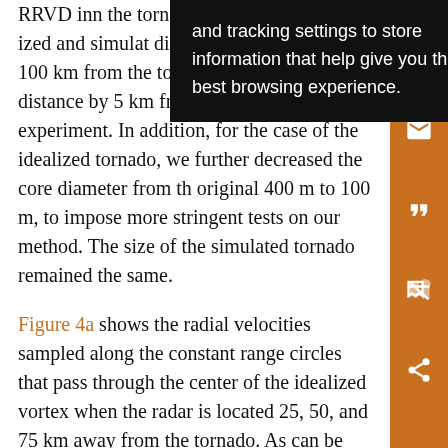RRVD in [truncated] n the tornado is [truncated] in the previous s[truncated]ized and simul[truncated] at distances between 20 and 100 km from the tornado, and increased the distance by 5 km from experiment to experiment. In addition, for the case of the idealized tornado, we further decreased the core diameter from the original 400 m to 100 m, to impose more stringent tests on our method. The size of the simulated tornado remained the same.
Figure 4a shows the radial velocities sampled along the constant range circles that pass through the center of the idealized vortex when the radar is located 25, 50, and 75 km away from the tornado. As can be seen, the sampled
[Figure (screenshot): Black popup overlay with white text reading: 'and tracking settings to store information that help give you the very best browsing experience.']